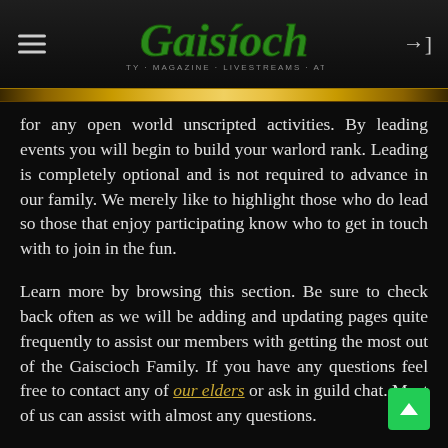Gaiscioch — Community · Magazine · Livestreams · Athletics
for any open world unscripted activities. By leading events you will begin to build your warlord rank. Leading is completely optional and is not required to advance in our family. We merely like to highlight those who do lead so those that enjoy participating know who to get in touch with to join in the fun.
Learn more by browsing this section. Be sure to check back often as we will be adding and updating pages quite frequently to assist our members with getting the most out of the Gaiscioch Family. If you have any questions feel free to contact any of our elders or ask in guild chat. Most of us can assist with almost any questions.